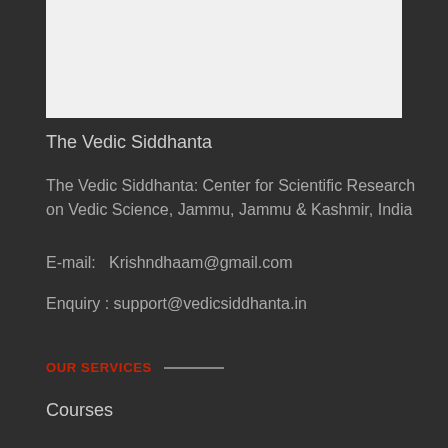[Figure (other): Light gray image placeholder box at the top of the page]
The Vedic Siddhanta
The Vedic Siddhanta: Center for Scientific Research on Vedic Science, Jammu, Jammu & Kashmir, India
E-mail:  Krishndhaam@gmail.com
Enquiry : support@vedicsiddhanta.in
OUR SERVICES
Courses